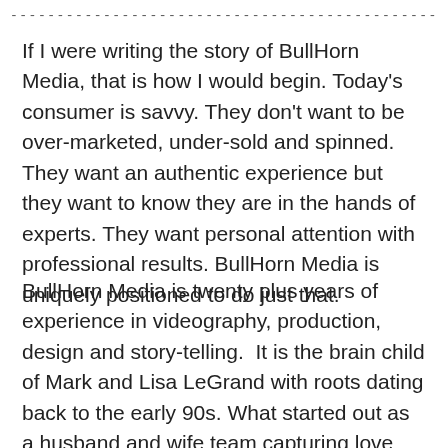-----------------------------------------------------------------------
If I were writing the story of BullHorn Media, that is how I would begin. Today's consumer is savvy. They don't want to be over-marketed, under-sold and spinned. They want an authentic experience but they want to know they are in the hands of experts. They want personal attention with professional results. BullHorn Media is uniquely positioned to do just that.
BullHorn Media is twenty plus years of experience in videography, production, design and story-telling.  It is the brain child of Mark and Lisa LeGrand with roots dating back to the early 90s. What started out as a husband and wife team capturing love stories flourishes decades later as a full-service production